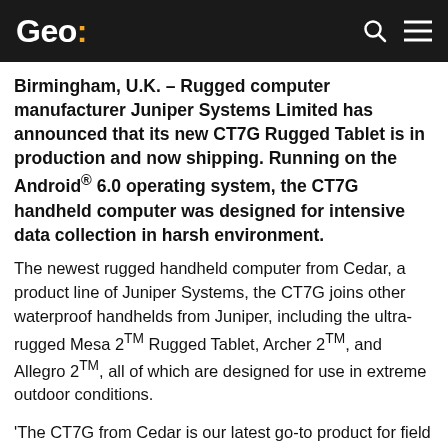Geo:
Birmingham, U.K. – Rugged computer manufacturer Juniper Systems Limited has announced that its new CT7G Rugged Tablet is in production and now shipping. Running on the Android® 6.0 operating system, the CT7G handheld computer was designed for intensive data collection in harsh environment.
The newest rugged handheld computer from Cedar, a product line of Juniper Systems, the CT7G joins other waterproof handhelds from Juniper, including the ultra-rugged Mesa 2™ Rugged Tablet, Archer 2™, and Allegro 2™, all of which are designed for use in extreme outdoor conditions.
'The CT7G from Cedar is our latest go-to product for field data collection', said Simon Bowe, General Manager at Juniper Systems Limited. 'Its large screen, long-life battery, and premium components make it the ideal solution for...